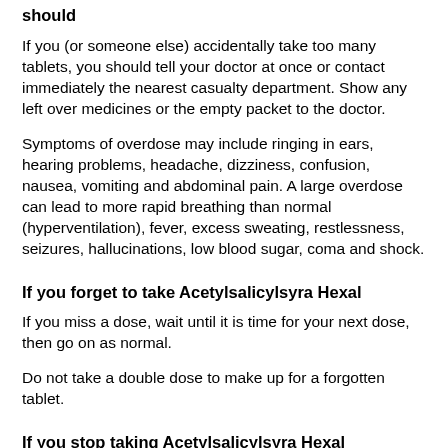should
If you (or someone else) accidentally take too many tablets, you should tell your doctor at once or contact immediately the nearest casualty department. Show any left over medicines or the empty packet to the doctor.
Symptoms of overdose may include ringing in ears, hearing problems, headache, dizziness, confusion, nausea, vomiting and abdominal pain. A large overdose can lead to more rapid breathing than normal (hyperventilation), fever, excess sweating, restlessness, seizures, hallucinations, low blood sugar, coma and shock.
If you forget to take Acetylsalicylsyra Hexal
If you miss a dose, wait until it is time for your next dose, then go on as normal.
Do not take a double dose to make up for a forgotten tablet.
If you stop taking Acetylsalicylsyra Hexal
Do not interrupt or stop your treatment with